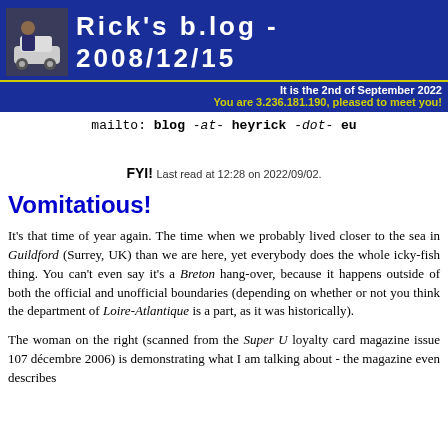Rick's b.log - 2008/12/15
It is the 2nd of September 2022
You are 3.236.181.190, pleased to meet you!
mailto: blog -at- heyrick -dot- eu
FYI! Last read at 12:28 on 2022/09/02.
Vomitatious!
It's that time of year again. The time when we probably lived closer to the sea in Guildford (Surrey, UK) than we are here, yet everybody does the whole icky-fish thing. You can't even say it's a Breton hang-over, because it happens outside of both the official and unofficial boundaries (depending on whether or not you think the department of Loire-Atlantique is a part, as it was historically).
The woman on the right (scanned from the Super U loyalty card magazine issue 107 décembre 2006) is demonstrating what I am talking about - the magazine even describes